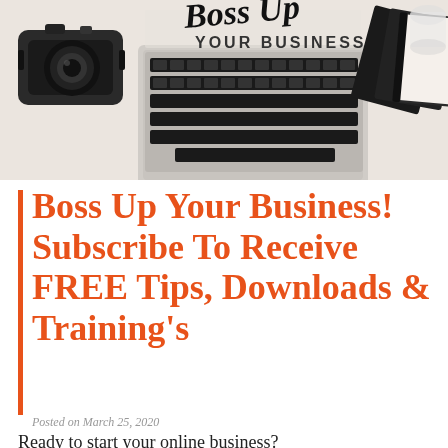[Figure (photo): Flat lay photo showing a laptop keyboard, a vintage camera on the left, and dark notebooks on the right. Script text reads 'Boss Up' at top and 'YOUR BUSINESS' in bold sans-serif below it.]
Boss Up Your Business! Subscribe To Receive FREE Tips, Downloads & Training's
Posted on March 25, 2020
Ready to start your online business?